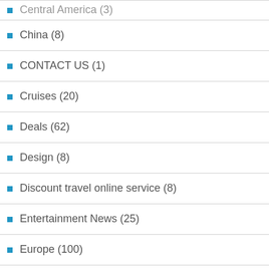Central America (3)
China (8)
CONTACT US (1)
Cruises (20)
Deals (62)
Design (8)
Discount travel online service (8)
Entertainment News (25)
Europe (100)
Events and Premieres (24)
Gay Accomodations (23)
Gay Beaches (32)
Gay Cities (113)
Gay Hotels (30)